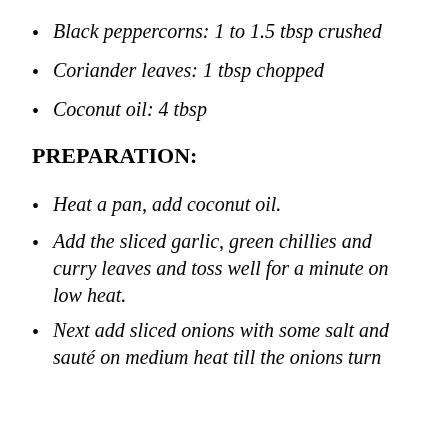Black peppercorns: 1 to 1.5 tbsp crushed
Coriander leaves: 1 tbsp chopped
Coconut oil: 4 tbsp
PREPARATION:
Heat a pan, add coconut oil.
Add the sliced garlic, green chillies and curry leaves and toss well for a minute on low heat.
Next add sliced onions with some salt and sauté on medium heat till the onions turn